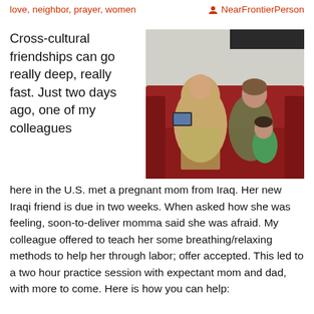love, neighbor, prayer, women   NearFrontierPerson
Cross-cultural friendships can go really deep, really fast.  Just two days ago, one of my colleagues
[Figure (photo): Two women and a young child sitting on a red couch. One woman wears a hijab and patterned dress, the other has short hair and wears a patterned jacket. The child is wearing a green shirt.]
here in the U.S. met a pregnant mom from Iraq. Her new Iraqi friend is due in two weeks. When asked how she was feeling, soon-to-deliver momma said she was afraid.  My colleague offered to teach her some breathing/relaxing methods to help her through labor; offer accepted. This led to a two hour practice session with expectant mom and dad, with more to come. Here is how you can help: